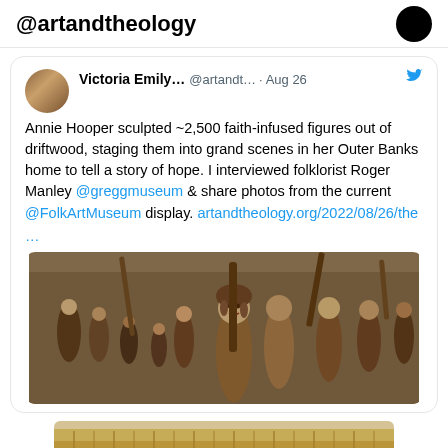@artandtheology
Victoria Emily... @artandt... · Aug 26
Annie Hooper sculpted ~2,500 faith-infused figures out of driftwood, staging them into grand scenes in her Outer Banks home to tell a story of hope. I interviewed folklorist Roger Manley @greggmuseum & share photos from the current @FolkArtMuseum display. artandtheology.org/2022/08/26/the …
[Figure (photo): Close-up photo of driftwood folk art figures, featuring a central figure with a face and hair made of natural materials, surrounded by many other small carved figures]
[Figure (photo): Partial view of another artwork or display at the bottom of the page, showing a textured sandy/natural material scene]